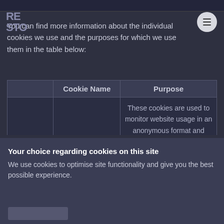You can find more information about the individual cookies we use and the purposes for which we use them in the table below:
|  | Cookie Name | Purpose |
| --- | --- | --- |
|  |  | These cookies are used to monitor website usage in an anonymous format and determine the number of visitors to the site, where visitors have come to |
Your choice regarding cookies on this site
We use cookies to optimise site functionality and give you the best possible experience.